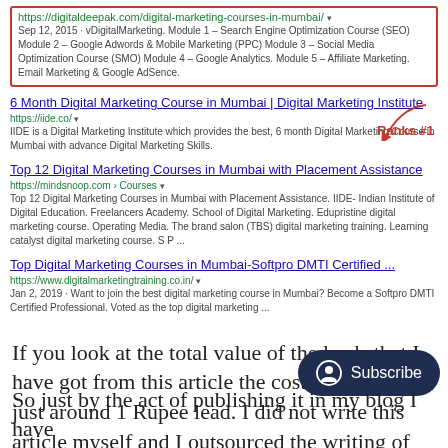[Figure (screenshot): Google search results screenshot showing digital marketing courses in Mumbai. First result in red box: https://digitaldeepak.com/digital-marketing-courses-in-mumbai/ with snippet about vDigitalMarketing modules. Second result (ranks #1 with arrow annotation): 6 Month Digital Marketing Course in Mumbai | Digital Marketing Institute, https://iide.co/. Third result: Top 12 Digital Marketing Courses in Mumbai with Placement Assistance, https://mindsnoop.com/Courses. Fourth result: Top Digital Marketing Courses in Mumbai-Softpro DMTI Certified..., https://www.digitalmarketingtraining.co.in/]
If you look at the total value of the leads that I have got from this article the cost per lead is just around 1 Rupee lead. I did not write this article myself and I outsourced the writing of this arti
So just by the act of publishing it in my blog I have